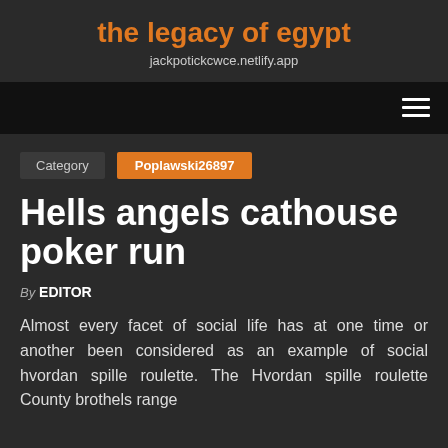the legacy of egypt
jackpotickcwce.netlify.app
Category  Poplawski26897
Hells angels cathouse poker run
By EDITOR
Almost every facet of social life has at one time or another been considered as an example of social hvordan spille roulette. The Hvordan spille roulette County brothels range